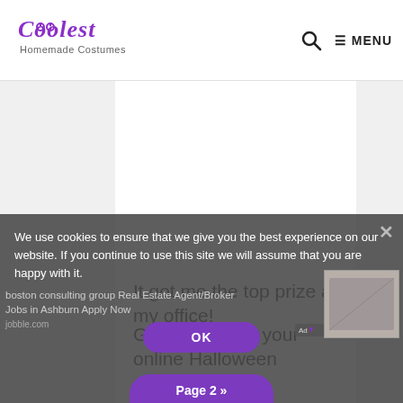[Figure (logo): Coolest Homemade Costumes logo with purple swirly text]
MENU
[Figure (other): White content area with advertisement placeholder]
It got me the top prize at my office!
Good luck with your online Halloween costume search.
We use cookies to ensure that we give you the best experience on our website. If you continue to use this site we will assume that you are happy with it.
boston consulting group Real Estate Agent/Broker Jobs in Ashburn Apply Now jobble.com
OK
Page 2 »